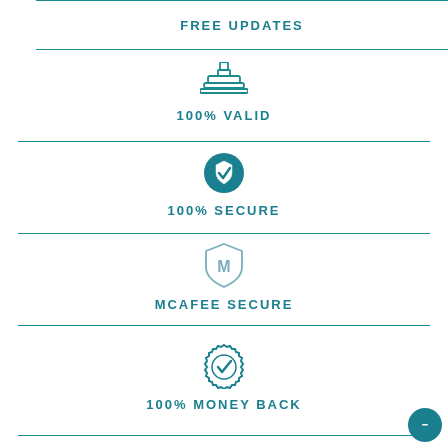FREE UPDATES
[Figure (illustration): Rubber stamp icon in teal outline style]
100% VALID
[Figure (illustration): Shield with checkmark icon, teal filled circle]
100% SECURE
[Figure (illustration): McAfee shield logo icon in teal/grey outline]
MCAFEE SECURE
[Figure (illustration): Badge/seal with checkmark icon in teal]
100% MONEY BACK